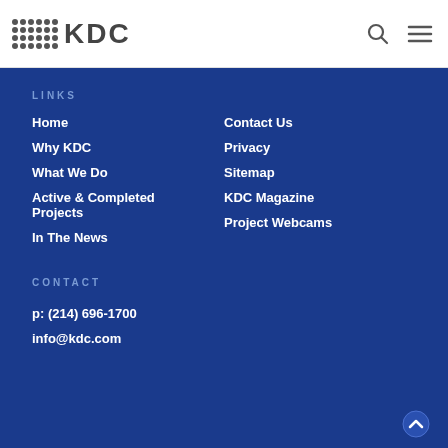[Figure (logo): KDC logo with dot grid and text on white header bar]
LINKS
Home
Why KDC
What We Do
Active & Completed Projects
In The News
Contact Us
Privacy
Sitemap
KDC Magazine
Project Webcams
CONTACT
p: (214) 696-1700
info@kdc.com